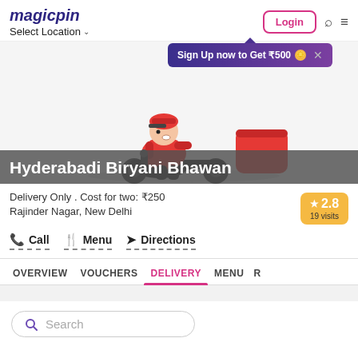magicpin | Select Location | Login
Sign Up now to Get ₹500
[Figure (illustration): Cartoon delivery boy on motorcycle wearing red uniform carrying a package]
Hyderabadi Biryani Bhawan
Delivery Only . Cost for two: ₹250
Rajinder Nagar, New Delhi
★ 2.8
19 visits
Call
Menu
Directions
OVERVIEW  VOUCHERS  DELIVERY  MENU  R
Search